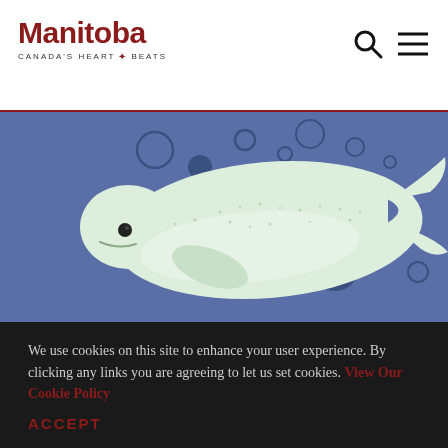Manitoba — Canada's Heart Beats
[Figure (illustration): Illustrated beluga whale swimming on a blue background with dark blue bubbles/circles scattered around it]
We use cookies on this site to enhance your user experience. By clicking any links you are agreeing to let us set cookies. View Our Cookie Policy
ACCEPT